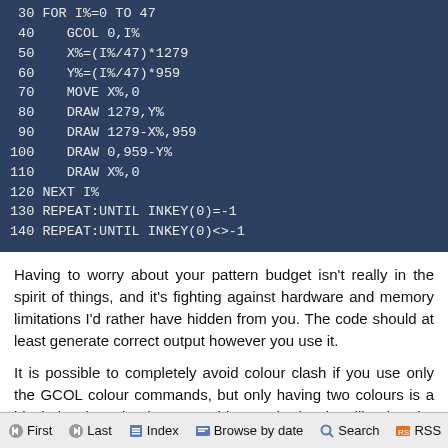[Figure (screenshot): Code listing on dark blue background showing BBC BASIC lines 40-140 with GCOL, X%/Y% calculations, MOVE, DRAW, NEXT, and REPEAT:UNTIL INKEY commands]
Having to worry about your pattern budget isn't really in the spirit of things, and it's fighting against hardware and memory limitations I'd rather have hidden from you. The code should at least generate correct output however you use it.
It is possible to completely avoid colour clash if you use only the GCOL colour commands, but only having two colours is a bit drab. There is also a graphics mode that is still using the Master System mode of colour management. Quite fittingly, a lot of BBC Micro screen modes only support two colours, and tend to use the same black/red/yellow/white palette by default:
First  Last  Index  Browse by date  Search  RSS